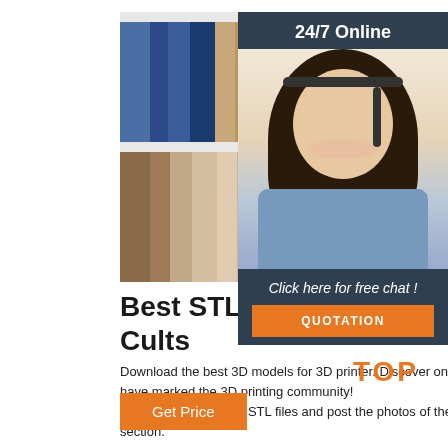[Figure (photo): Colorful fabric swatches/samples arranged in rows showing various colors including blue, tan, red, orange, pink, teal, yellow and more]
[Figure (photo): 24/7 Online customer service panel with a smiling female agent wearing headset, dark background with 'Click here for free chat!' text and orange QUOTATION button]
Best STL files for 3D printing ★ Cults
Download the best 3D models for 3D printer. Discover on this page all 3D files that have marked the 3D printing community! 3D print these superb STL files and post the photos of the result in our Makes section.
[Figure (logo): Orange TOP badge with dots above the text]
Get Price